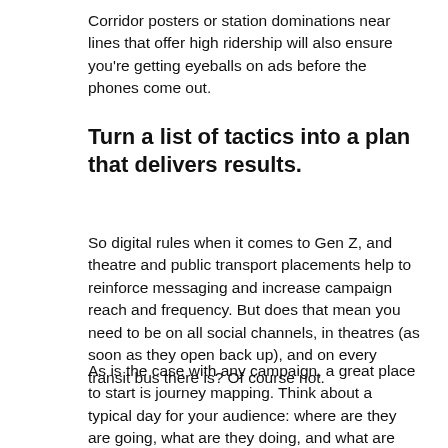Corridor posters or station dominations near lines that offer high ridership will also ensure you're getting eyeballs on ads before the phones come out.
Turn a list of tactics into a plan that delivers results.
So digital rules when it comes to Gen Z, and theatre and public transport placements help to reinforce messaging and increase campaign reach and frequency. But does that mean you need to be on all social channels, in theatres (as soon as they open back up), and on every transit bus there is? Of course not.
As is the case with any campaign, a great place to start is journey mapping. Think about a typical day for your audience: where are they are going, what are they doing, and what are they thinking about while they're there? Their device is bound to be in their pocket (first in their hand), and then what they d...